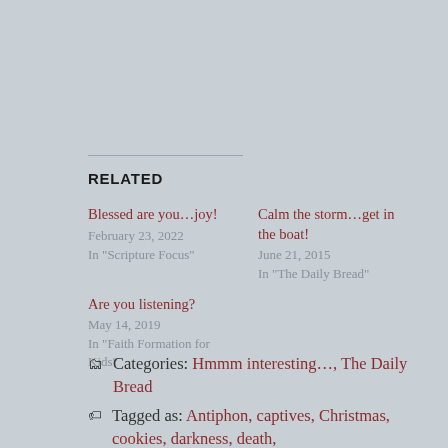RELATED
Blessed are you…joy!
February 23, 2022
In "Scripture Focus"
Calm the storm…get in the boat!
June 21, 2015
In "The Daily Bread"
Are you listening?
May 14, 2019
In "Faith Formation for Kids"
Categories: Hmmm interesting…, The Daily Bread
Tagged as: Antiphon, captives, Christmas, cookies, darkness, death,